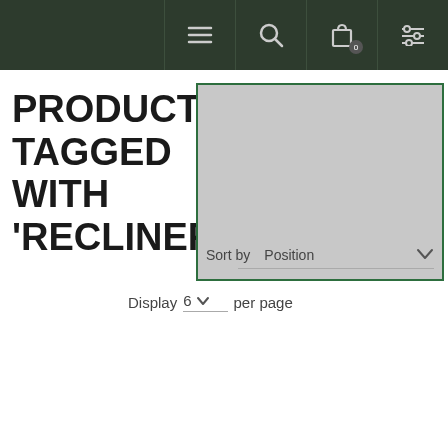Navigation bar with menu, search, cart (0), and filter icons
PRODUCTS TAGGED WITH 'RECLINER'
[Figure (screenshot): Gray dropdown overlay box with green border, showing Sort by Position option]
Sort by  Position
Display  6  per page